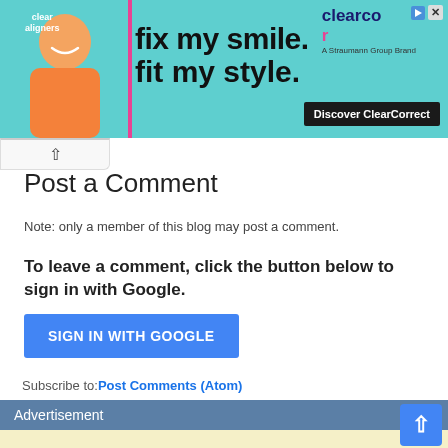[Figure (photo): ClearCorrect advertisement banner with smiling person and 'fix my smile. fit my style.' text with Discover ClearCorrect button]
Post a Comment
Note: only a member of this blog may post a comment.
To leave a comment, click the button below to sign in with Google.
[Figure (other): SIGN IN WITH GOOGLE button (blue)]
Subscribe to: Post Comments (Atom)
Advertisement